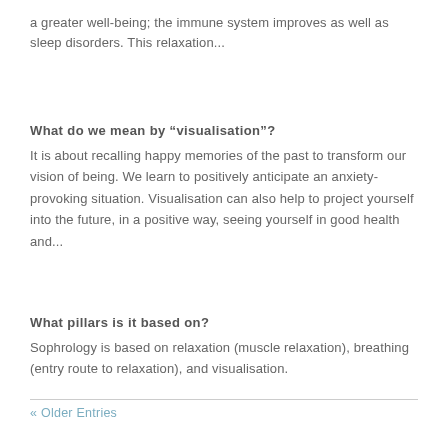a greater well-being; the immune system improves as well as sleep disorders. This relaxation...
What do we mean by “visualisation”?
It is about recalling happy memories of the past to transform our vision of being. We learn to positively anticipate an anxiety-provoking situation. Visualisation can also help to project yourself into the future, in a positive way, seeing yourself in good health and...
What pillars is it based on?
Sophrology is based on relaxation (muscle relaxation), breathing (entry route to relaxation), and visualisation.
« Older Entries